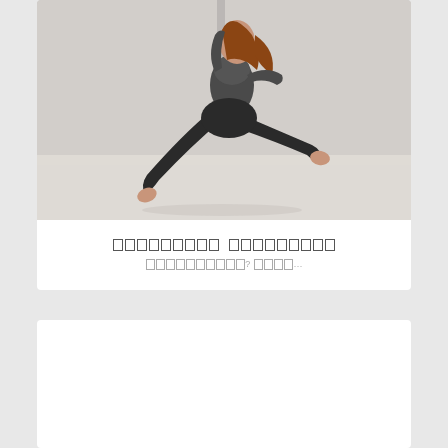[Figure (photo): A woman in black athletic wear (sports bra and leggings) performing an aerial/pole fitness pose, leaning back and extending her legs wide apart while gripping a pole or aerial hoop, photographed against a light grey wall and light wood floor background.]
█████████ █████████
██████████? ████...
[Figure (photo): White card/content area below, mostly empty/blank]